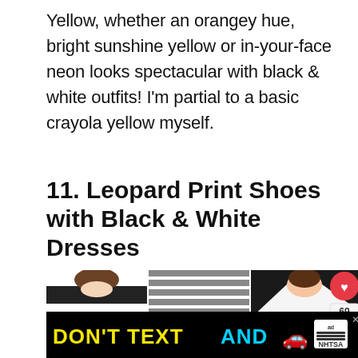Yellow, whether an orangey hue, bright sunshine yellow or in-your-face neon looks spectacular with black & white outfits! I'm partial to a basic crayola yellow myself.
11. Leopard Print Shoes with Black & White Dresses
[Figure (photo): Three women wearing black and white outfits/dresses, shown as a horizontal strip of three photos]
[Figure (other): Advertisement banner: DON'T TEXT AND [car emoji] with NHTSA ad badge and close button]